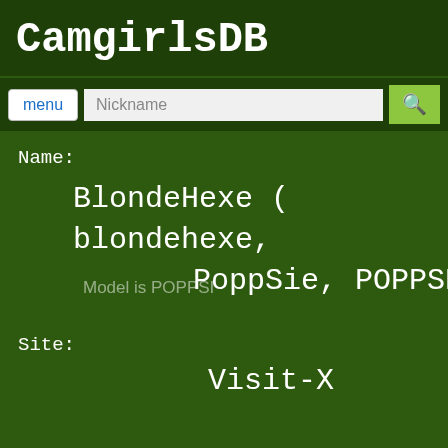CamgirlsDB
menu | Nickname search
Name:
BlondeHexe ( blondehexe, PoppSie, POPPSE )
Site:
Visit-X